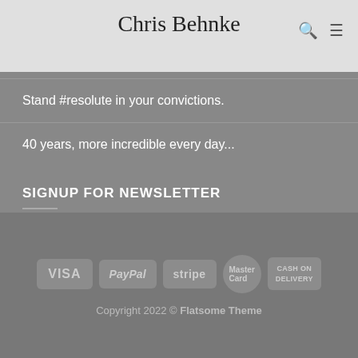Chris Behnke
and reality of the coronavirus
Dance like you don't care, it's when you'll discover your real moves.
Stand #resolute in your convictions.
40 years, more incredible every day...
SIGNUP FOR NEWSLETTER
Newsletter coming soon... (wait does anyone read news letters anymore?) Contact me instead!
[Figure (other): Payment method icons: VISA, PayPal, stripe, MasterCard, CASH ON DELIVERY]
Copyright 2022 © Flatsome Theme